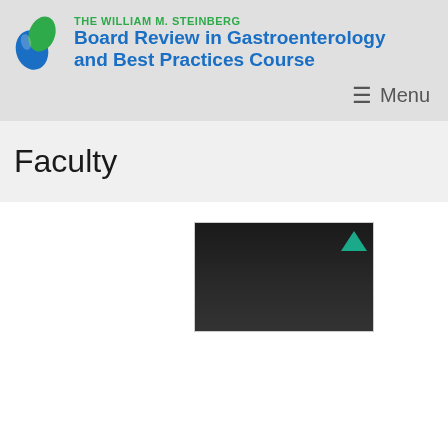[Figure (logo): The William M. Steinberg Board Review in Gastroenterology and Best Practices Course logo with a blue-green leaf/drop icon]
≡ Menu
Faculty
[Figure (photo): A dark portrait photo of a person, partially visible at the bottom of the page, with a teal upward arrow icon in the top-right corner]